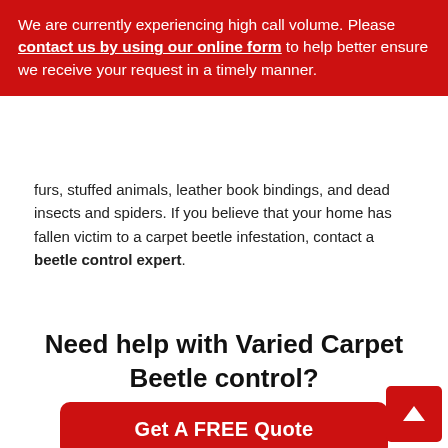We are currently experiencing high call volume. Please contact us by using our online form to help better ensure we receive your request in a timely manner.
furs, stuffed animals, leather book bindings, and dead insects and spiders. If you believe that your home has fallen victim to a carpet beetle infestation, contact a beetle control expert.
Need help with Varied Carpet Beetle control?
Get A FREE Quote